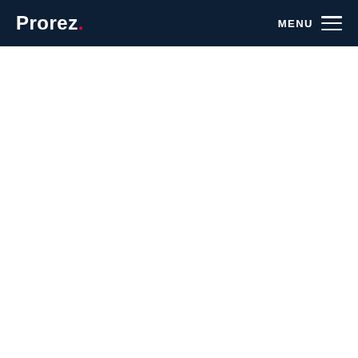Prorez. MENU
[Figure (other): White empty content area below navigation header]